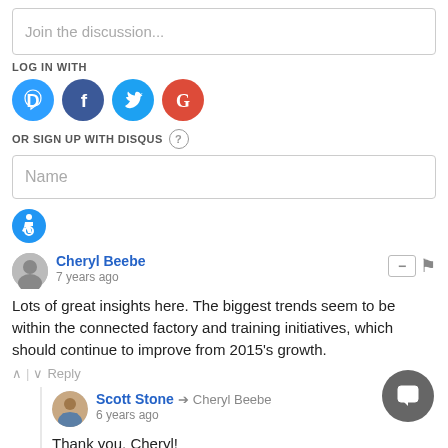Join the discussion...
LOG IN WITH
[Figure (illustration): Four social login icons: Disqus (blue circle with D), Facebook (dark blue circle with f), Twitter (light blue circle with bird), Google (red circle with G)]
OR SIGN UP WITH DISQUS ?
Name
[Figure (illustration): Blue accessibility icon (wheelchair symbol) in a circle]
Cheryl Beebe
7 years ago
Lots of great insights here. The biggest trends seem to be within the connected factory and training initiatives, which should continue to improve from 2015's growth.
Reply
Scott Stone → Cheryl Beebe
6 years ago
Thank you, Cheryl!